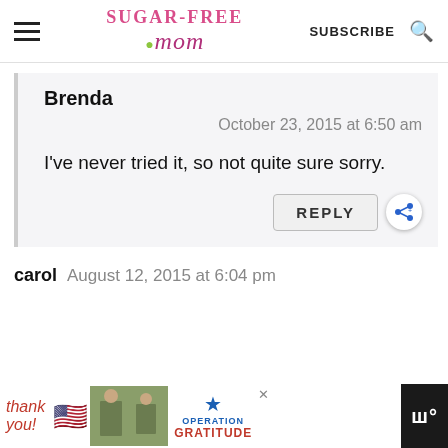Sugar-Free Mom — SUBSCRIBE
Brenda
October 23, 2015 at 6:50 am
I've never tried it, so not quite sure sorry.
REPLY
carol   August 12, 2015 at 6:04 pm
[Figure (screenshot): Advertisement banner: thank you military Operation Gratitude ad]